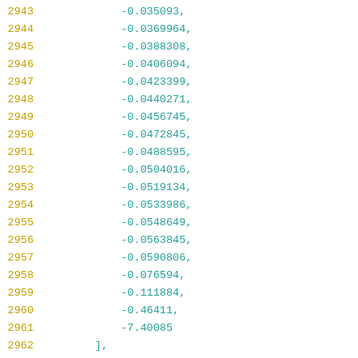2943   -0.035093,
2944   -0.0369964,
2945   -0.0388308,
2946   -0.0406094,
2947   -0.0423399,
2948   -0.0440271,
2949   -0.0456745,
2950   -0.0472845,
2951   -0.0488595,
2952   -0.0504016,
2953   -0.0519134,
2954   -0.0533986,
2955   -0.0548649,
2956   -0.0563845,
2957   -0.0590806,
2958   -0.076594,
2959   -0.111884,
2960   -0.46411,
2961   -7.40085
2962   ],
2963   [
2964   6.03315